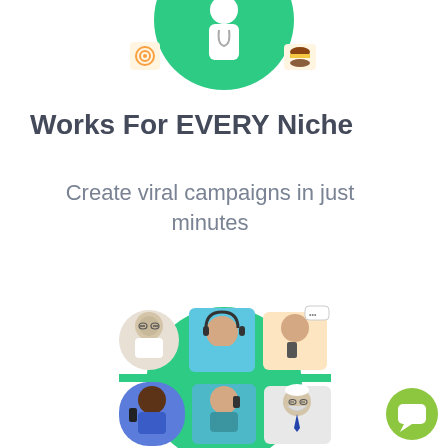[Figure (illustration): Top illustration showing a green circle with a doctor figure in the center, flanked by small icons including a target/bullseye icon on the left and a burger/food icon on the right, partially cropped at the top of the page.]
Works For EVERY Niche
Create viral campaigns in just minutes
[Figure (illustration): Bottom illustration showing a green circle background with a collage of diverse people — elderly doctor with glasses, person with headphones, person with smartphone with chat bubble, a dark-skinned woman, a person in scrubs on phone, and an elderly bearded man — arranged in a grid-like layout.]
[Figure (logo): Green circular chat/messenger button with a white speech bubble/message icon, located in the bottom-right corner.]